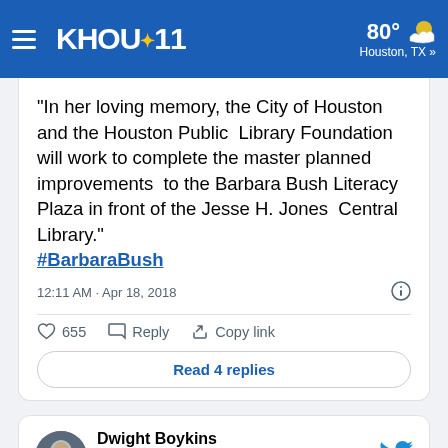[Figure (screenshot): KHOU 11 news website navigation bar with hamburger menu, KHOU 11 logo, and weather showing 80° in Houston, TX]
"In her loving memory, the City of Houston and the Houston Public Library Foundation will work to complete the master planned improvements to the Barbara Bush Literacy Plaza in front of the Jesse H. Jones Central Library." #BarbaraBush
12:11 AM · Apr 18, 2018
655  Reply  Copy link
Read 4 replies
Dwight Boykins @DwightBoykins · Follow